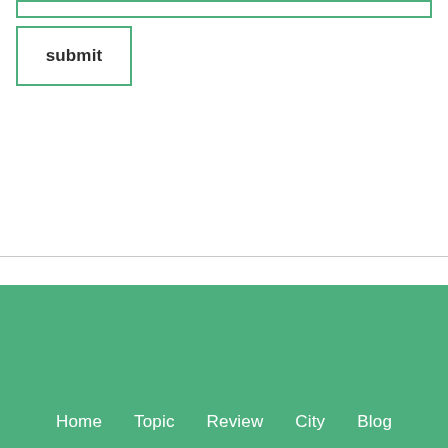[Figure (screenshot): A green-bordered input text field at the top of the page]
submit
Home   Topic   Review   City   Blog